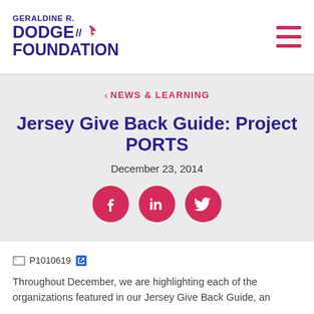GERALDINE R. DODGE FOUNDATION
< NEWS & LEARNING
Jersey Give Back Guide: Project PORTS
December 23, 2014
[Figure (illustration): Social media share icons: Facebook, LinkedIn, Twitter — red circles with white icons]
[Figure (photo): Broken image placeholder labeled P1010619 with external link icon]
Throughout December, we are highlighting each of the organizations featured in our Jersey Give Back Guide, an